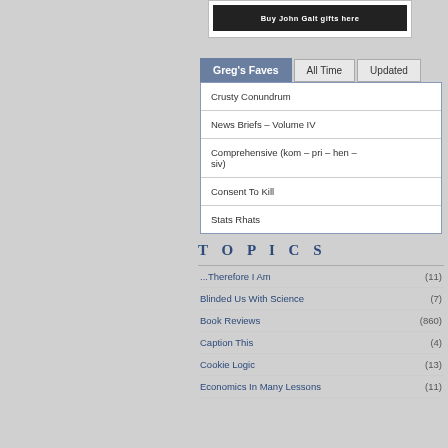[Figure (screenshot): Buy John Galt gifts here banner in black]
Greg's Faves | All Time | Updated
Crusty Conundrum
News Briefs – Volume IV
Comprehensive (kom – pri – hen – siv)
Consent To Kill
Stats Rhats
TOPICS
...Therefore I Am (11)
Blinded Us With Science (7)
Book Reviews (860)
Caption This (4)
Cookie Logic (13)
Economics In Many Lessons (11)